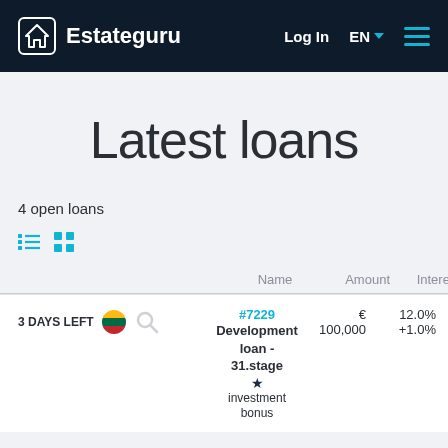Estateguru — Log In  EN  ☰
Latest loans
4 open loans
| Name | Amount | Interest | Period |
| --- | --- | --- | --- |
| #7229 Development loan - 31.stage ★ investment bonus | € 100,000 | 12.0% +1.0% | Mo |